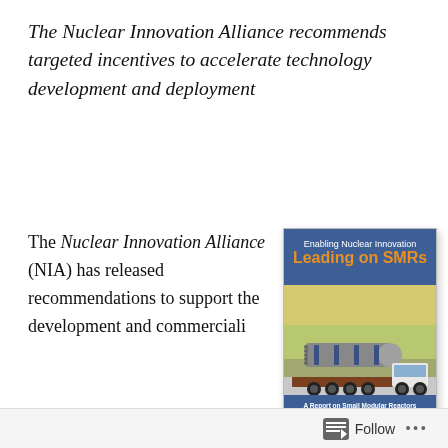The Nuclear Innovation Alliance recommends targeted incentives to accelerate technology development and deployment
The Nuclear Innovation Alliance (NIA) has released recommendations to support the development and commerciali
[Figure (illustration): Book cover for 'Enabling Nuclear Innovation: Leading on SMRs' — A Report on Small Modular Reactors by the Nuclear Innovation Alliance. Blue cover with orange bold title text, featuring an illustration of a large cylindrical SMR reactor vessel being transported on a flatbed truck.]
Follow ...